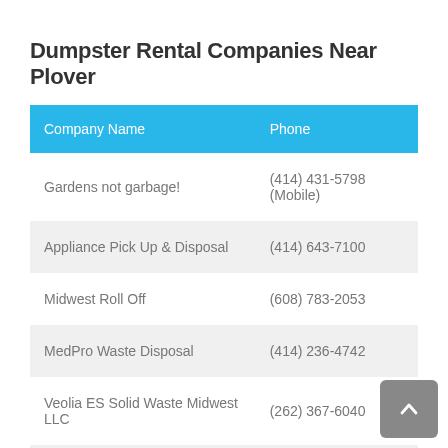Dumpster Rental Companies Near Plover
| Company Name | Phone |
| --- | --- |
| Gardens not garbage! | (414) 431-5798 (Mobile) |
| Appliance Pick Up & Disposal | (414) 643-7100 |
| Midwest Roll Off | (608) 783-2053 |
| MedPro Waste Disposal | (414) 236-4742 |
| Veolia ES Solid Waste Midwest LLC | (262) 367-6040 |
| Doggonit | (920) 884-6403 |
| Cooley's Truck & Auto Wrecking | (715) 832-7163 |